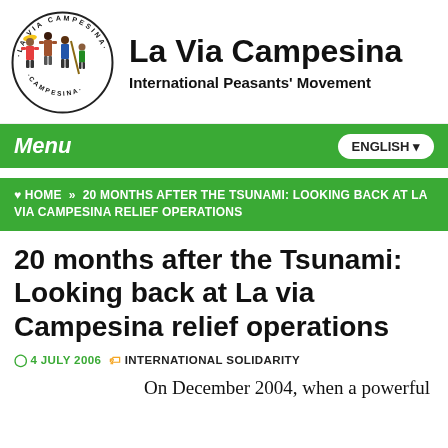[Figure (logo): La Via Campesina logo — circular emblem with text 'LA VIA CAMPESINA' around the border, featuring illustrated figures of peasants/farmers]
La Via Campesina
International Peasants' Movement
Menu   ENGLISH
HOME » 20 MONTHS AFTER THE TSUNAMI: LOOKING BACK AT LA VIA CAMPESINA RELIEF OPERATIONS
20 months after the Tsunami: Looking back at La via Campesina relief operations
4 JULY 2006   INTERNATIONAL SOLIDARITY
On December 2004, when a powerful